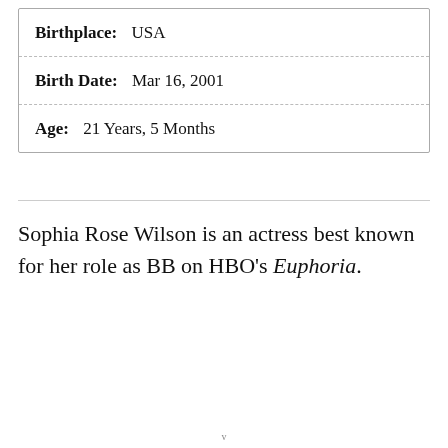| Birthplace: | USA |
| Birth Date: | Mar 16, 2001 |
| Age: | 21 Years, 5 Months |
Sophia Rose Wilson is an actress best known for her role as BB on HBO's Euphoria.